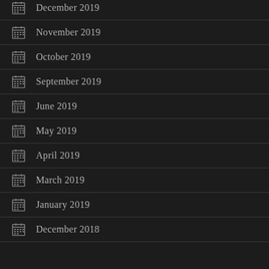December 2019
November 2019
October 2019
September 2019
June 2019
May 2019
April 2019
March 2019
January 2019
December 2018